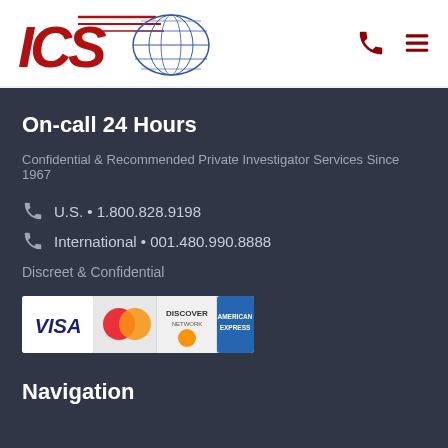[Figure (logo): ICS International logo with globe graphic]
[Figure (infographic): Phone and hamburger menu icons in dark red]
On-call 24 Hours
Confidential & Recommended Private Investigator Services Since 1967
U.S. • 1.800.828.9198
International • 001.480.990.8888
Discreet & Confidential
[Figure (infographic): Credit card logos: VISA, MasterCard, Discover, American Express]
Navigation